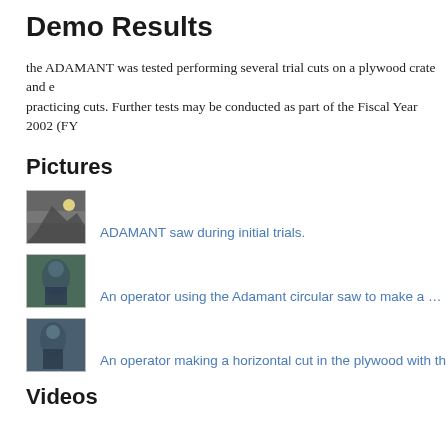Demo Results
the ADAMANT was tested performing several trial cuts on a plywood crate and e practicing cuts. Further tests may be conducted as part of the Fiscal Year 2002 (FY
Pictures
[Figure (photo): Thumbnail photo of ADAMANT saw during initial trials]
ADAMANT saw during initial trials.
[Figure (photo): Thumbnail photo of an operator using the Adamant circular saw to make a vertical cut]
An operator using the Adamant circular saw to make a ver
[Figure (photo): Thumbnail photo of an operator making a horizontal cut in the plywood]
An operator making a horizontal cut in the plywood with th
Videos